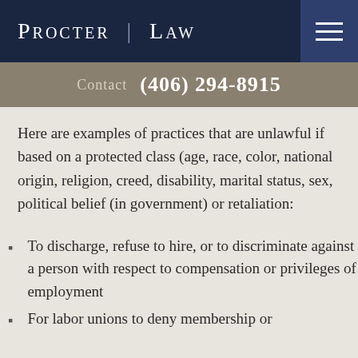Procter Law
Contact  (406) 294-8915
Here are examples of practices that are unlawful if based on a protected class (age, race, color, national origin, religion, creed, disability, marital status, sex, political belief (in government) or retaliation:
To discharge, refuse to hire, or to discriminate against a person with respect to compensation or privileges of employment
For labor unions to deny membership or